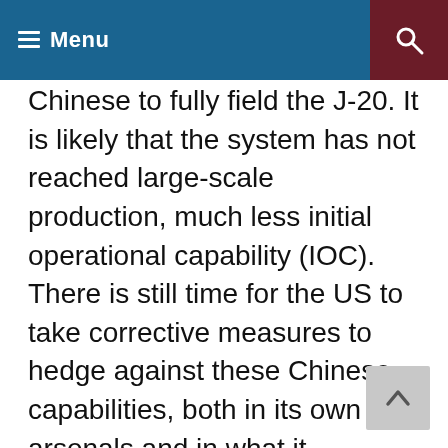Menu
Chinese to fully field the J-20. It is likely that the system has not reached large-scale production, much less initial operational capability (IOC). There is still time for the US to take corrective measures to hedge against these Chinese capabilities, both in its own arsenals and in what it provides Taiwan.